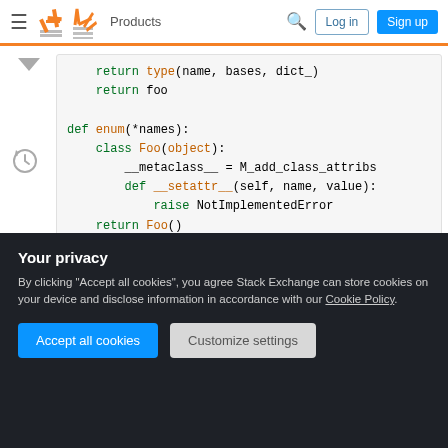Stack Overflow — Products — Log in — Sign up
[Figure (screenshot): Python code block showing enum implementation with syntax highlighting]
Use it like this:
[Figure (screenshot): Partial code block showing: Animal = enum('DOG', 'CAT')]
Your privacy
By clicking "Accept all cookies", you agree Stack Exchange can store cookies on your device and disclose information in accordance with our Cookie Policy.
Accept all cookies    Customize settings